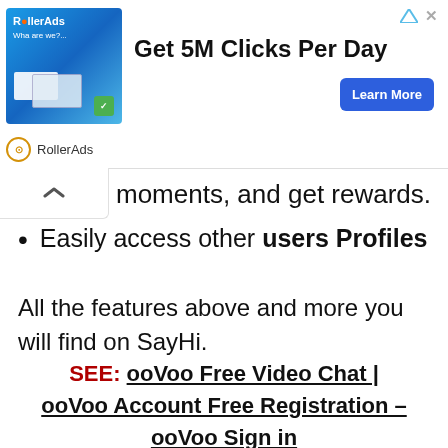[Figure (screenshot): RollerAds advertisement banner: shows a blue ad image on the left, 'Get 5M Clicks Per Day' headline in bold, a blue 'Learn More' button, navigation icons top right, and 'RollerAds' brand name with icon at the bottom.]
moments, and get rewards.
Easily access other users Profiles
All the features above and more you will find on SayHi.
SEE: ooVoo Free Video Chat | ooVoo Account Free Registration – ooVoo Sign in